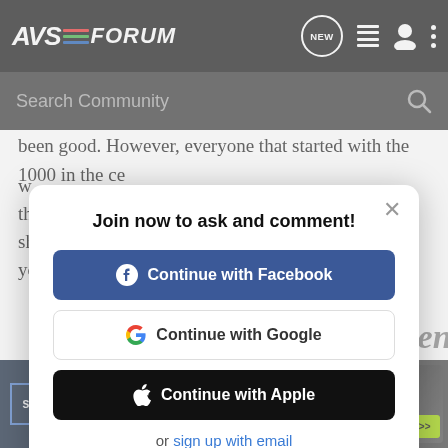[Figure (screenshot): AVS Forum logo in header navigation bar]
[Figure (screenshot): Search Community input bar]
been good. However, everyone that started with the 1000 in the ce... w... th... sh... yo...
Join now to ask and comment!
[Figure (screenshot): Continue with Facebook button]
[Figure (screenshot): Continue with Google button]
[Figure (screenshot): Continue with Apple button]
or sign up with email
[Figure (screenshot): SVS SoundPath Audio Accessories advertisement banner at bottom]